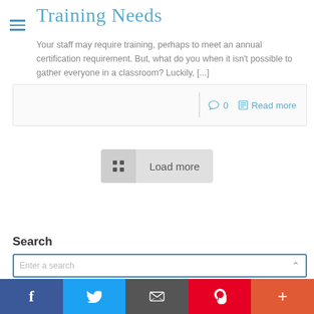Training Needs
Your staff may require training, perhaps to meet an annual certification requirement. But, what do you when it isn't possible to gather everyone in a classroom? Luckily, [...]
0   Read more
Load more
Search
Enter a search
f  Twitter  Email  Pinterest  +